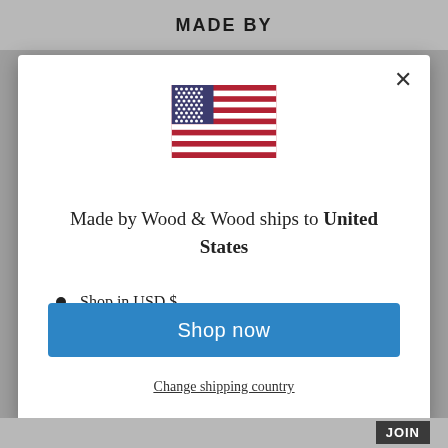MADE BY
[Figure (illustration): United States flag icon]
Made by Wood & Wood ships to United States
Shop in USD $
Get shipping options for United States
Shop now
Change shipping country